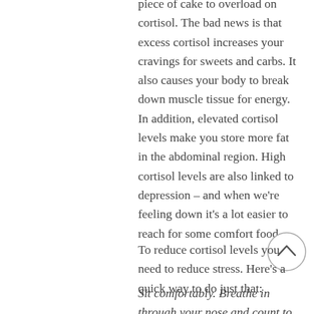piece of cake to overload on cortisol. The bad news is that excess cortisol increases your cravings for sweets and carbs. It also causes your body to break down muscle tissue for energy. In addition, elevated cortisol levels make you store more fat in the abdominal region. High cortisol levels are also linked to depression – and when we're feeling down it's a lot easier to reach for some comfort food.
[Figure (other): A circular scroll-up button with a chevron/caret pointing upward, grey outline on white background]
To reduce cortisol levels you need to reduce stress. Here's a quick way to do just that:
Sit comfortably. Breathe in through your nose and count to four. Hold it for 2